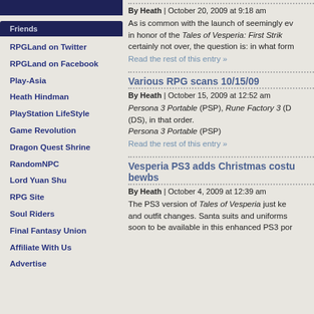Friends
RPGLand on Twitter
RPGLand on Facebook
Play-Asia
Heath Hindman
PlayStation LifeStyle
Game Revolution
Dragon Quest Shrine
RandomNPC
Lord Yuan Shu
RPG Site
Soul Riders
Final Fantasy Union
Affiliate With Us
Advertise
By Heath | October 20, 2009 at 9:18 am
As is common with the launch of seemingly ev... in honor of the Tales of Vesperia: First Strik... certainly not over, the question is: in what form...
Read the rest of this entry »
Various RPG scans 10/15/09
By Heath | October 15, 2009 at 12:52 am
Persona 3 Portable (PSP), Rune Factory 3 (D... (DS), in that order. Persona 3 Portable (PSP)
Read the rest of this entry »
Vesperia PS3 adds Christmas costu... bewbs
By Heath | October 4, 2009 at 12:39 am
The PS3 version of Tales of Vesperia just ke... and outfit changes. Santa suits and uniforms ... soon to be available in this enhanced PS3 por...